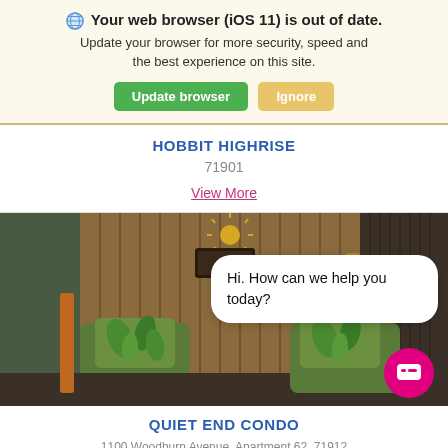Your web browser (iOS 11) is out of date. Update your browser for more security, speed and the best experience on this site. Update browser | Ignore
HOBBIT HIGHRISE
71901
View More
[Figure (photo): Porch or enclosed patio with two chairs with tropical leaf-patterned cushions, wood-paneled wall, and a decorative sun ornament. A chat bubble overlay reads 'Hi. How can we help you today?' with a pink chat button in the lower right.]
QUIET END CONDO
1100 Woodburn Avenue, Apartment 62, 71912